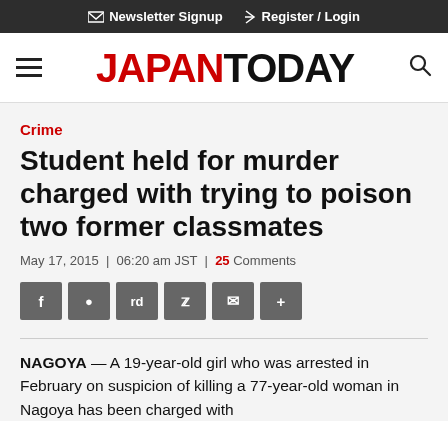Newsletter Signup   Register / Login
[Figure (logo): Japan Today logo with hamburger menu and search icon]
Crime
Student held for murder charged with trying to poison two former classmates
May 17, 2015  |  06:20 am JST  |  25 Comments
[Figure (infographic): Social share buttons: Facebook, Messenger, Reddit, Twitter, Email, More]
NAGOYA — A 19-year-old girl who was arrested in February on suspicion of killing a 77-year-old woman in Nagoya has been charged with